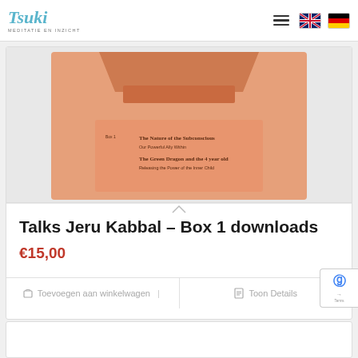Tsuki — Meditatie en Inzicht
[Figure (illustration): Product box cover image for Talks Jeru Kabbal Box 1 — salmon/orange background with book cover showing 'The Nature of the Subconscious: Our Powerful Ally Within' and 'The Green Dragon and the 4 year old: Releasing the Power of the Inner Child']
Talks Jeru Kabbal – Box 1 downloads
€15,00
Toevoegen aan winkelwagen | Toon Details